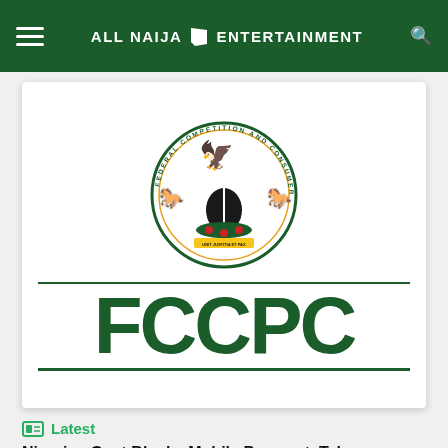ALL NAIJA ENTERTAINMENT
[Figure (logo): FCCPC logo — Federal Competition and Consumer Protection Commission seal with eagle and horses crest above large green FCCPC lettering between two green horizontal lines]
Latest
Nigerian Govt Blocks Mobile Payment, Telecoms Network Access To Collection Firms